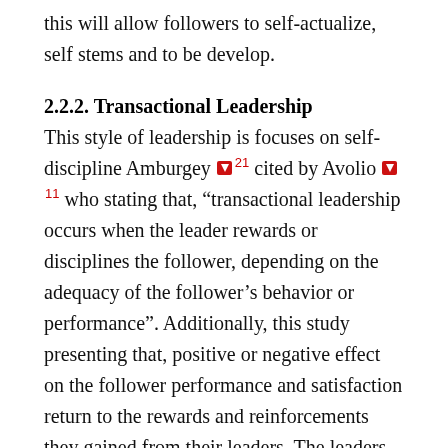this will allow followers to self-actualize, self stems and to be develop.
2.2.2. Transactional Leadership
This style of leadership is focuses on self-discipline Amburgey [21] cited by Avolio [11] who stating that, “transactional leadership occurs when the leader rewards or disciplines the follower, depending on the adequacy of the follower’s behavior or performance”. Additionally, this study presenting that, positive or negative effect on the follower performance and satisfaction return to the rewards and reinforcements they gained from their leaders. The leaders of transactional style interact with